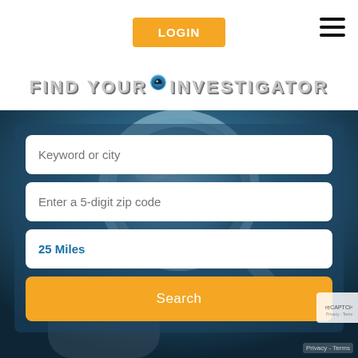[Figure (screenshot): Orange LOGIN button in top center navigation bar]
[Figure (logo): Find Your Investigator logo with map pin icon, metallic/grey lettering]
[Figure (photo): Hero background image of a magnifying glass held by a hand, dark blue toned]
Keyword or city
Enter a 5-digit zip code
25 Miles
Search
Privacy - Terms